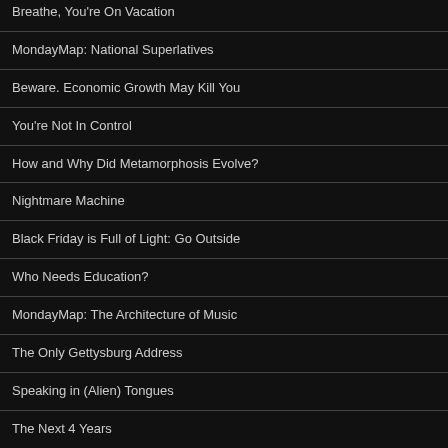Breathe, You're On Vacation
MondayMap: National Superlatives
Beware. Economic Growth May Kill You
You're Not In Control
How and Why Did Metamorphosis Evolve?
Nightmare Machine
Black Friday is Full of Light: Go Outside
Who Needs Education?
MondayMap: The Architecture of Music
The Only Gettysburg Address
Speaking in (Alien) Tongues
The Next 4 Years
Open-Office or Home-Based?